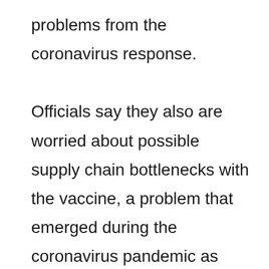problems from the coronavirus response.

Officials say they also are worried about possible supply chain bottlenecks with the vaccine, a problem that emerged during the coronavirus pandemic as countries competed for resources to fight the virus, and hard-hit nations such as India moved to ban exports of